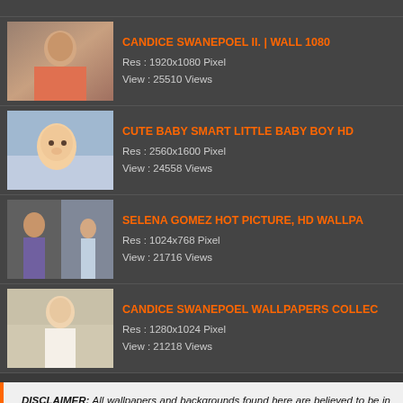CANDICE SWANEPOEL II. | WALL 1080
Res : 1920x1080 Pixel
View : 25510 Views
CUTE BABY SMART LITTLE BABY BOY HD
Res : 2560x1600 Pixel
View : 24558 Views
SELENA GOMEZ HOT PICTURE, HD WALLPA
Res : 1024x768 Pixel
View : 21716 Views
CANDICE SWANEPOEL WALLPAPERS COLLEC
Res : 1280x1024 Pixel
View : 21218 Views
DISCLAIMER: All wallpapers and backgrounds found here are believed to be in the "public domain". Most of the images displayed are of unknown origin. We do not intend to infringe any legitimate intellectual right, artistic rights or copyright. If you are the rightful owner of any of the pictures/wallpapers posted here, and you do not want it to be displayed or if you require a suitable credit, then please contact us and we will immediately